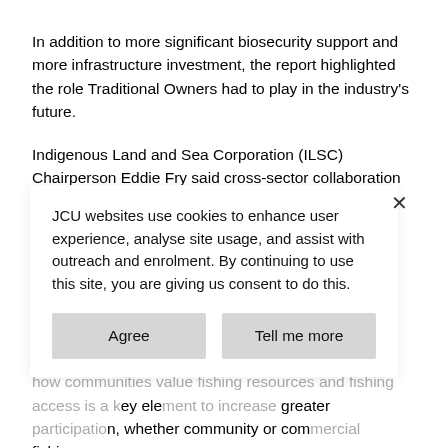In addition to more significant biosecurity support and more infrastructure investment, the report highlighted the role Traditional Owners had to play in the industry's future.
Indigenous Land and Sea Corporation (ILSC) Chairperson Eddie Fry said cross-sector collaboration and investment is vital to increase Indigenous participation in the aquaculture sector, especially as Indigenous Australians are already managing 45 per cent of land in the Northern Australia coastline.
"Aquaculture has been practised by thousands of years by Indigenous Australians and understanding how communities value fishing resources and fishing access is a key element to increase greater participation, whether community or commercial fishing
JCU websites use cookies to enhance user experience, analyse site usage, and assist with outreach and enrolment. By continuing to use this site, you are giving us consent to do this.